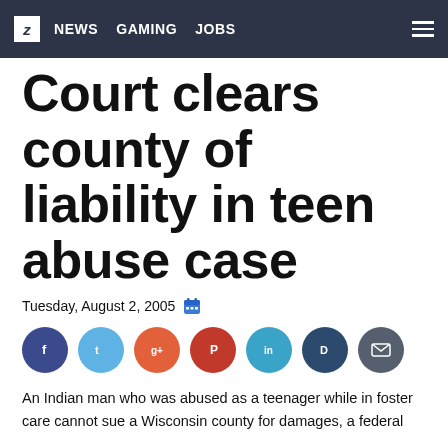z NEWS GAMING JOBS
Court clears county of liability in teen abuse case
Tuesday, August 2, 2005
[Figure (other): Row of seven social share buttons as colored circles: dark blue (Facebook), light blue (Twitter), orange-red, red, teal (LinkedIn), dark navy, and grey with envelope icon (email)]
An Indian man who was abused as a teenager while in foster care cannot sue a Wisconsin county for damages, a federal